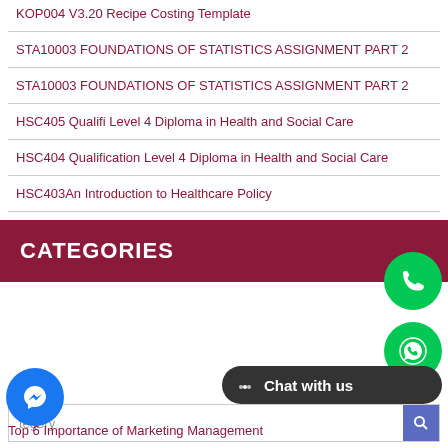KOP004 V3.20 Recipe Costing Template
STA10003 FOUNDATIONS OF STATISTICS ASSIGNMENT PART 2
STA10003 FOUNDATIONS OF STATISTICS ASSIGNMENT PART 2
HSC405 Qualifi Level 4 Diploma in Health and Social Care
HSC404 Qualification Level 4 Diploma in Health and Social Care
HSC403An Introduction to Healthcare Policy
CATEGORIES
Top 6 Importance of Marketing Management